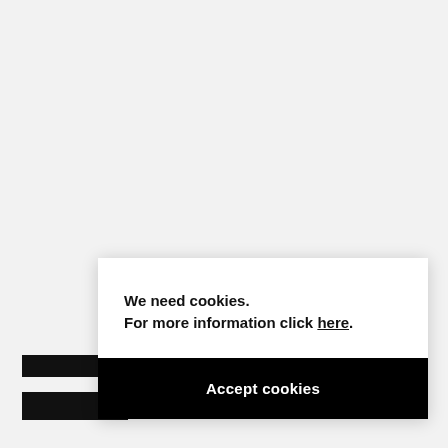[Figure (screenshot): Cookie consent dialog overlay on a light gray webpage background, with two black bars on the left (partial hamburger menu icon). The dialog has white background with bold text and a black Accept cookies button.]
We need cookies.
For more information click here.
Accept cookies